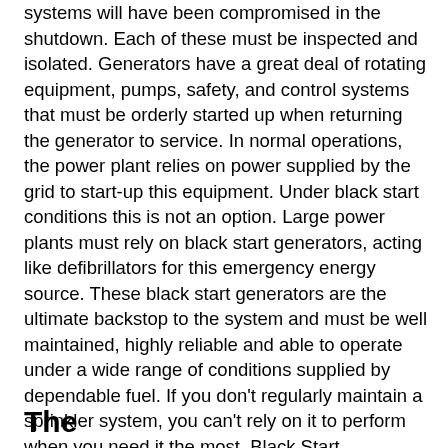systems will have been compromised in the shutdown. Each of these must be inspected and isolated. Generators have a great deal of rotating equipment, pumps, safety, and control systems that must be orderly started up when returning the generator to service.  In normal operations, the power plant relies on power supplied by the grid to start-up this equipment.  Under black start conditions this is not an option.  Large power plants must rely on black start generators, acting like defibrillators for this emergency energy source.  These black start generators are the ultimate backstop to the system and must be well maintained, highly reliable and able to operate under a wide range of conditions supplied by dependable fuel.  If you don't regularly maintain a sprinkler system, you can't rely on it to perform when you need it the most.    Black Start generators must be reliably maintained to provide critical reliability and resilience to the network.
The